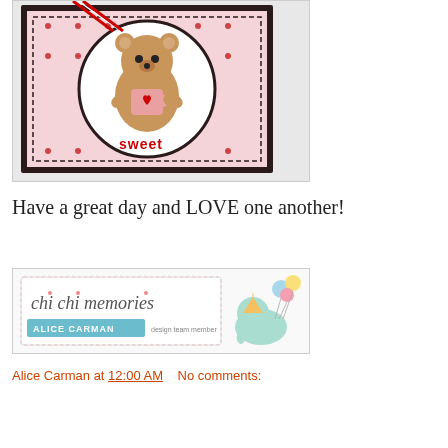[Figure (illustration): Handmade craft card with a cute brown bear holding a heart-shaped mug, inside a circular frame. The card has pink polka dot background and red 3D letters spelling 'sweet'. Red and white striped ribbons at top.]
Have a great day and LOVE one another!
[Figure (logo): Chi Chi Memories logo with Alice Carman design team member text, featuring a teal elephant with party balloons illustration.]
Alice Carman at 12:00 AM   No comments: